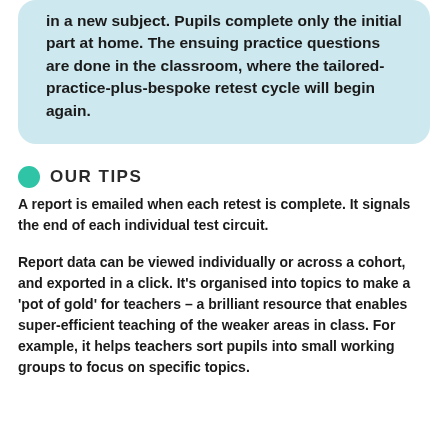in a new subject. Pupils complete only the initial part at home. The ensuing practice questions are done in the classroom, where the tailored-practice-plus-bespoke retest cycle will begin again.
OUR TIPS
A report is emailed when each retest is complete. It signals the end of each individual test circuit.
Report data can be viewed individually or across a cohort, and exported in a click. It's organised into topics to make a 'pot of gold' for teachers – a brilliant resource that enables super-efficient teaching of the weaker areas in class. For example, it helps teachers sort pupils into small working groups to focus on specific topics.